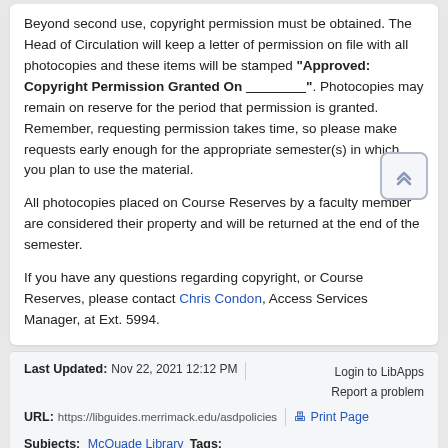Beyond second use, copyright permission must be obtained. The Head of Circulation will keep a letter of permission on file with all photocopies and these items will be stamped "Approved: Copyright Permission Granted On ________________". Photocopies may remain on reserve for the period that permission is granted. Remember, requesting permission takes time, so please make requests early enough for the appropriate semester(s) in which you plan to use the material.
All photocopies placed on Course Reserves by a faculty member are considered their property and will be returned at the end of the semester.
If you have any questions regarding copyright, or Course Reserves, please contact Chris Condon, Access Services Manager, at Ext. 5994.
Last Updated: Nov 22, 2021 12:12 PM | URL: https://libguides.merrimack.edu/asdpolicies | Print Page | Login to LibApps | Report a problem | Subjects: McQuade Library Tags: access, access_services, borrowing, circulation, course_reserves, ill, interlibary_loan, lost, overdue, policies, reserves, services